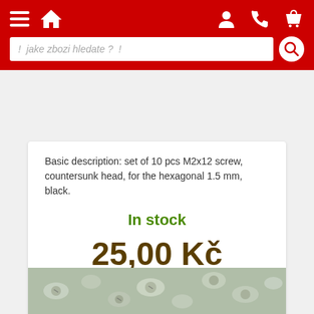Navigation header with menu, home, user, phone, cart icons and search bar: ! jake zbozi hledate ? !
Basic description: set of 10 pcs M2x12 screw, countersunk head, for the hexagonal 1.5 mm, black.
In stock
25,00 Kč
Buy
[Figure (photo): Close-up photo of small M2x12 screws scattered on a surface, metallic silver/gray appearance]